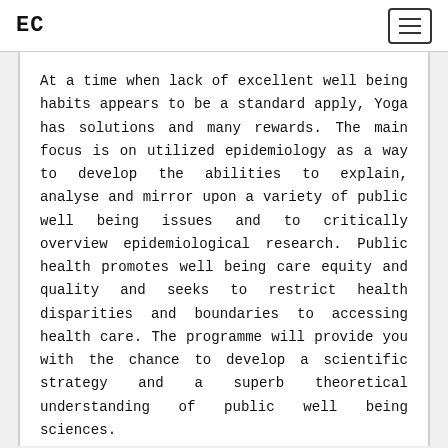EC
At a time when lack of excellent well being habits appears to be a standard apply, Yoga has solutions and many rewards. The main focus is on utilized epidemiology as a way to develop the abilities to explain, analyse and mirror upon a variety of public well being issues and to critically overview epidemiological research. Public health promotes well being care equity and quality and seeks to restrict health disparities and boundaries to accessing health care. The programme will provide you with the chance to develop a scientific strategy and a superb theoretical understanding of public well being sciences.